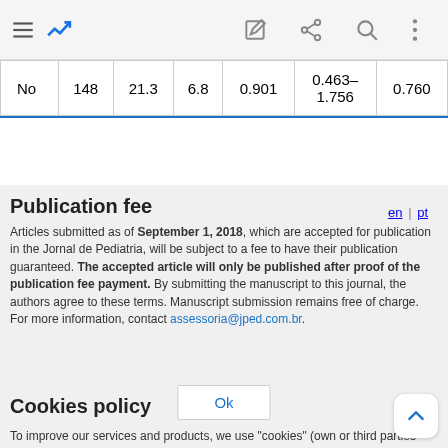|  |  |  |  |  |  |  |
| --- | --- | --- | --- | --- | --- | --- |
| No | 148 | 21.3 | 6.8 | 0.901 | 0.463–1.756 | 0.760 |
Publication fee
Articles submitted as of September 1, 2018, which are accepted for publication in the Jornal de Pediatria, will be subject to a fee to have their publication guaranteed. The accepted article will only be published after proof of the publication fee payment. By submitting the manuscript to this journal, the authors agree to these terms. Manuscript submission remains free of charge. For more information, contact assessoria@jped.com.br.
Cookies policy
To improve our services and products, we use "cookies" (own or third parties authorized) to show advertising related to client preferences through the analyses of navigation customer behavior. Continuing navigation will be considered as acceptance of this use. You can change the settings or obtain more information by clicking here.